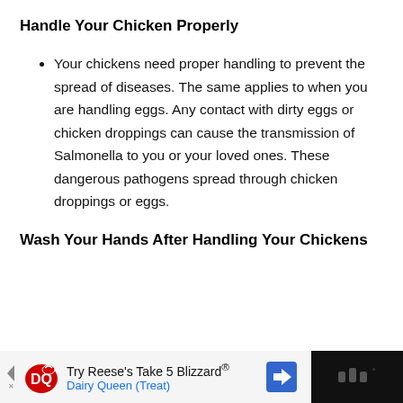Handle Your Chicken Properly
Your chickens need proper handling to prevent the spread of diseases. The same applies to when you are handling eggs. Any contact with dirty eggs or chicken droppings can cause the transmission of Salmonella to you or your loved ones. These dangerous pathogens spread through chicken droppings or eggs.
Wash Your Hands After Handling Your Chickens
[Figure (other): Advertisement banner for Dairy Queen Reese's Take 5 Blizzard Treat at the bottom of the page]